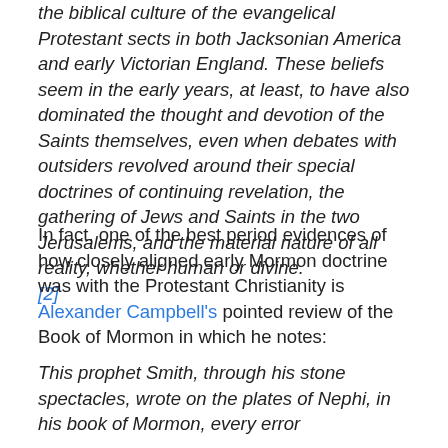the biblical culture of the evangelical Protestant sects in both Jacksonian America and early Victorian England. These beliefs seem in the early years, at least, to have also dominated the thought and devotion of the Saints themselves, even when debates with outsiders revolved around their special doctrines of continuing revelation, the gathering of Jews and Saints in the two Jerusalems, and the material nature of all reality, whether human or divine. [2]
In fact, one of the best period evidences of how closely aligned early Mormon doctrine was with the Protestant Christianity is Alexander Campbell's pointed review of the Book of Mormon in which he notes:
This prophet Smith, through his stone spectacles, wrote on the plates of Nephi, in his book of Mormon, every error and absurdity contrary to the discern in New York, for the last ten years.